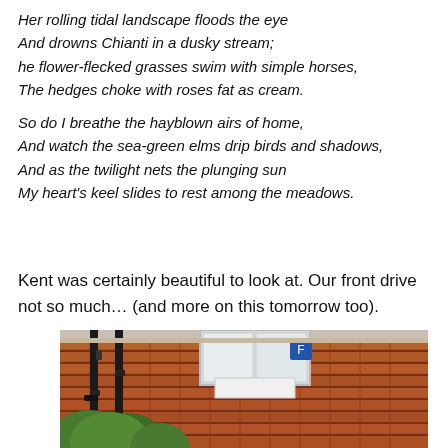Her rolling tidal landscape floods the eye
And drowns Chianti in a dusky stream;
he flower-flecked grasses swim with simple horses,
The hedges choke with roses fat as cream.

So do I breathe the hayblown airs of home,
And watch the sea-green elms drip birds and shadows,
And as the twilight nets the plunging sun
My heart's keel slides to rest among the meadows.
Kent was certainly beautiful to look at. Our front drive not so much… (and more on this tomorrow too).
[Figure (photo): A red brick building exterior with black drainpipes, a white-framed window, and green shrubs/trees in the foreground.]